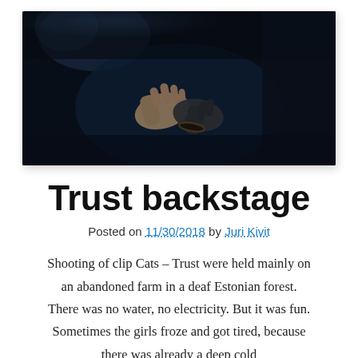[Figure (photo): Dark cinematic photo of two people holding hands in dim lighting, backstage or indoor setting with dark blue tones]
Trust backstage
Posted on 11/30/2018 by Juri Kivit
Shooting of clip Cats – Trust were held mainly on an abandoned farm in a deaf Estonian forest. There was no water, no electricity. But it was fun. Sometimes the girls froze and got tired, because there was already a deep cold